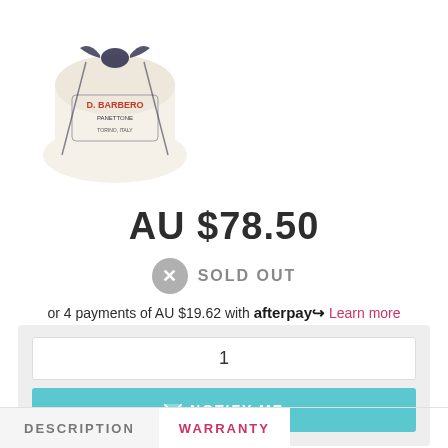[Figure (photo): Product photo of D. Barbero panettone wrapped in white paper with a dark ribbon bow on top]
AU $78.50
SOLD OUT
or 4 payments of AU $19.62 with afterpay Learn more
1
NOTIFY ME
DESCRIPTION
WARRANTY